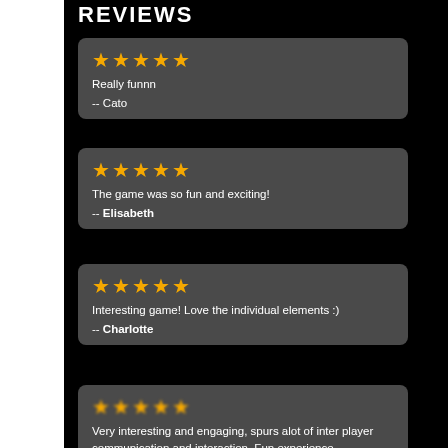REVIEWS
★★★★★
Really funnn
-- Cato
★★★★★
The game was so fun and exciting!
-- Elisabeth
★★★★★
Interesting game! Love the individual elements :)
-- Charlotte
★★★★★
Very interesting and engaging, spurs alot of inter player communication and interaction. Fun experience
-- Weilong